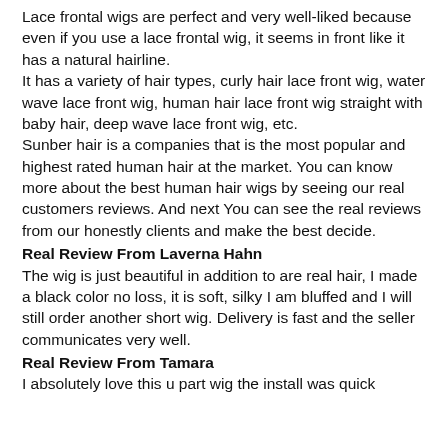Lace frontal wigs are perfect and very well-liked because even if you use a lace frontal wig, it seems in front like it has a natural hairline. It has a variety of hair types, curly hair lace front wig, water wave lace front wig, human hair lace front wig straight with baby hair, deep wave lace front wig, etc. Sunber hair is a companies that is the most popular and highest rated human hair at the market. You can know more about the best human hair wigs by seeing our real customers reviews. And next You can see the real reviews from our honestly clients and make the best decide.
Real Review From Laverna Hahn
The wig is just beautiful in addition to are real hair, I made a black color no loss, it is soft, silky I am bluffed and I will still order another short wig. Delivery is fast and the seller communicates very well.
Real Review From Tamara
I absolutely love this u part wig the install was quick